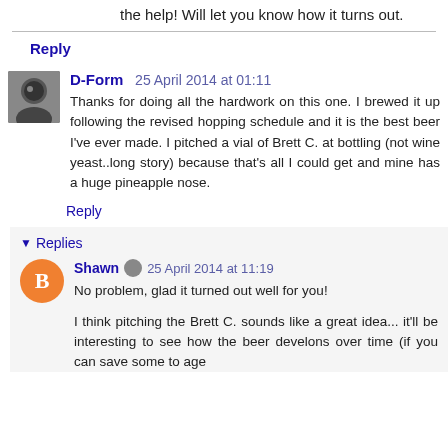the help! Will let you know how it turns out.
Reply
D-Form 25 April 2014 at 01:11
Thanks for doing all the hardwork on this one. I brewed it up following the revised hopping schedule and it is the best beer I've ever made. I pitched a vial of Brett C. at bottling (not wine yeast..long story) because that's all I could get and mine has a huge pineapple nose.
Reply
Replies
Shawn 25 April 2014 at 11:19
No problem, glad it turned out well for you!
I think pitching the Brett C. sounds like a great idea... it'll be interesting to see how the beer develons over time (if you can save some to age